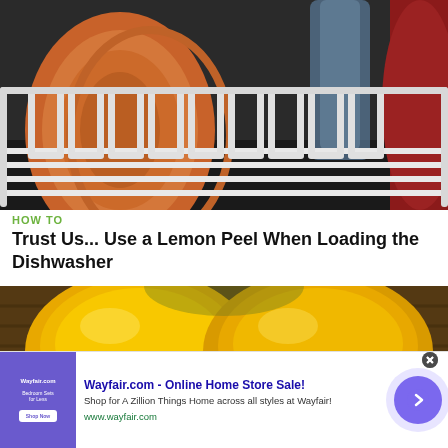[Figure (photo): Dishwasher rack loaded with orange plates, glasses, and a lemon slice resting on the rack]
HOW TO
Trust Us... Use a Lemon Peel When Loading the Dishwasher
[Figure (photo): Close-up of two yellow lemons in a basket]
Wayfair.com - Online Home Store Sale!
Shop for A Zillion Things Home across all styles at Wayfair!
www.wayfair.com